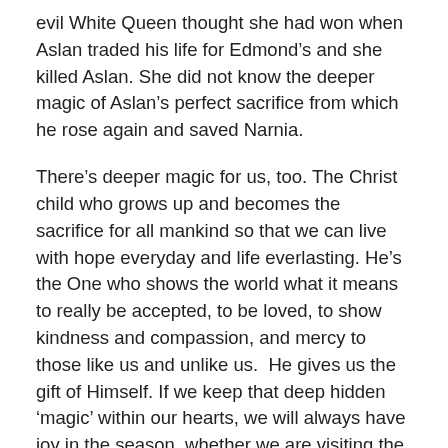evil White Queen thought she had won when Aslan traded his life for Edmond’s and she killed Aslan. She did not know the deeper magic of Aslan’s perfect sacrifice from which he rose again and saved Narnia.
There’s deeper magic for us, too. The Christ child who grows up and becomes the sacrifice for all mankind so that we can live with hope everyday and life everlasting. He’s the One who shows the world what it means to really be accepted, to be loved, to show kindness and compassion, and mercy to those like us and unlike us.  He gives us the gift of Himself. If we keep that deep hidden ‘magic’ within our hearts, we will always have joy in the season, whether we are visiting the mountaintops of our journey or living in the valleys of this life.
The true deeper magic: “For God so loved the world that